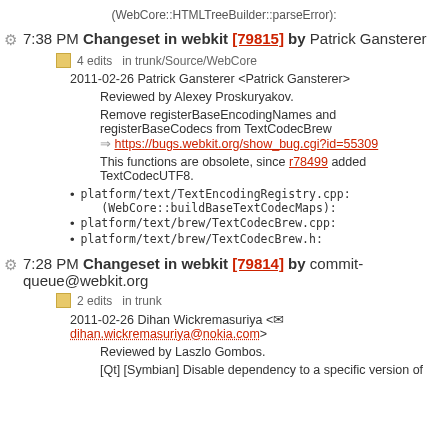(WebCore::HTMLTreeBuilder::parseError):
7:38 PM Changeset in webkit [79815] by Patrick Gansterer
4 edits in trunk/Source/WebCore
2011-02-26 Patrick Gansterer <Patrick Gansterer>
Reviewed by Alexey Proskuryakov.
Remove registerBaseEncodingNames and registerBaseCodecs from TextCodecBrew
=> https://bugs.webkit.org/show_bug.cgi?id=55309
This functions are obsolete, since r78499 added TextCodecUTF8.
platform/text/TextEncodingRegistry.cpp: (WebCore::buildBaseTextCodecMaps):
platform/text/brew/TextCodecBrew.cpp:
platform/text/brew/TextCodecBrew.h:
7:28 PM Changeset in webkit [79814] by commit-queue@webkit.org
2 edits in trunk
2011-02-26 Dihan Wickremasuriya <dihan.wickremasuriya@nokia.com>
Reviewed by Laszlo Gombos.
[Qt] [Symbian] Disable dependency to a specific version of